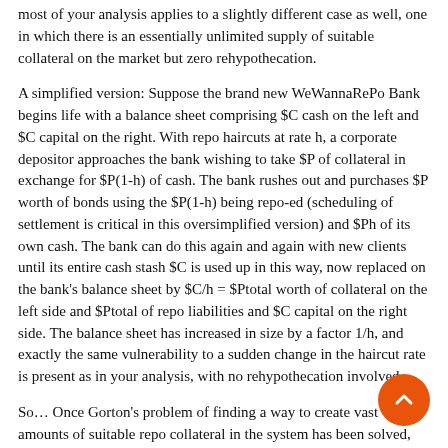most of your analysis applies to a slightly different case as well, one in which there is an essentially unlimited supply of suitable collateral on the market but zero rehypothecation.
A simplified version: Suppose the brand new WeWannaRePoBank begins life with a balance sheet comprising $C cash on the left and $C capital on the right. With repo haircuts at rate h, a corporate depositor approaches the bank wishing to take $P of collateral in exchange for $P(1-h) of cash. The bank rushes out and purchases $P worth of bonds using the $P(1-h) being repo-ed (scheduling of settlement is critical in this oversimplified version) and $Ph of its own cash. The bank can do this again and again with new clients until its entire cash stash $C is used up in this way, now replaced on the bank's balance sheet by $C/h = $Ptotal worth of collateral on the left side and $Ptotal of repo liabilities and $C capital on the right side. The balance sheet has increased in size by a factor 1/h, and exactly the same vulnerability to a sudden change in the haircut rate is present as in your analysis, with no rehypothecation involved.
So… Once Gorton's problem of finding a way to create vast amounts of suitable repo collateral in the system has been solved, the problem of haircut sensitivity is present no matter whether the allowed rehypothecation is a lot, a little, or none at all.